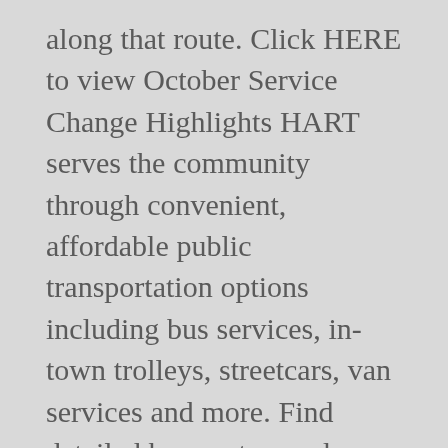along that route. Click HERE to view October Service Change Highlights HART serves the community through convenient, affordable public transportation options including bus services, in-town trolleys, streetcars, van services and more. Find detailed bus routes, and schedules of the Milwaukee County Transit System. Holiday schedules take effect on 12/25, 1/1. Please contact Customer Service at 970-350-9290 to speak to a representative or email the Accessibility Coordinator at Leiton.Powell@greeleygov.com. Routes & Schedules CATS has over 70 bus and rail routes to get you where you want to be. Season Tickets for Class all STM...